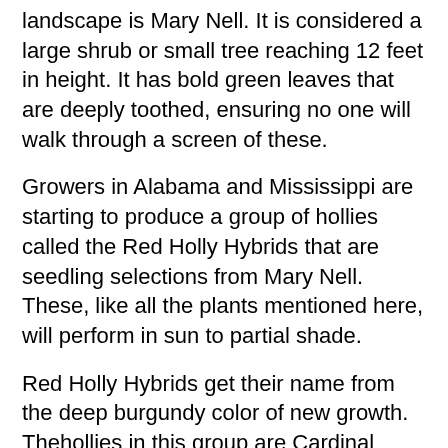landscape is Mary Nell. It is considered a large shrub or small tree reaching 12 feet in height. It has bold green leaves that are deeply toothed, ensuring no one will walk through a screen of these.
Growers in Alabama and Mississippi are starting to produce a group of hollies called the Red Holly Hybrids that are seedling selections from Mary Nell. These, like all the plants mentioned here, will perform in sun to partial shade.
Red Holly Hybrids get their name from the deep burgundy color of new growth. Thehollies in this group are Cardinal (14 feet), Festive (12 feet), Oakleaf (14 feet), Robin (14 feet) and Little Red (10 feet).
At the recent Mississippi Garden and Patio Show in Jackson, Cleyera was demonstrated as an effective privacy screen in the outdoor area. Large specimen placed side by side blocked out an undesirable view.